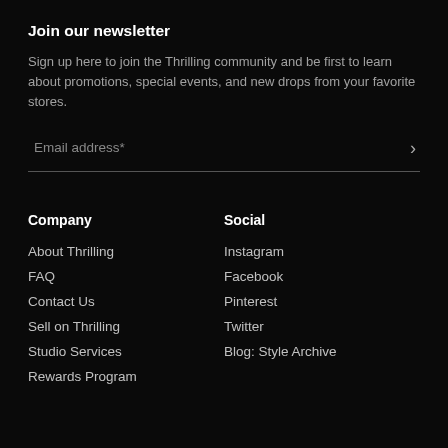Join our newsletter
Sign up here to join the Thrilling community and be first to learn about promotions, special events, and new drops from your favorite stores.
Email address*
Company
About Thrilling
FAQ
Contact Us
Sell on Thrilling
Studio Services
Rewards Program
Social
Instagram
Facebook
Pinterest
Twitter
Blog: Style Archive